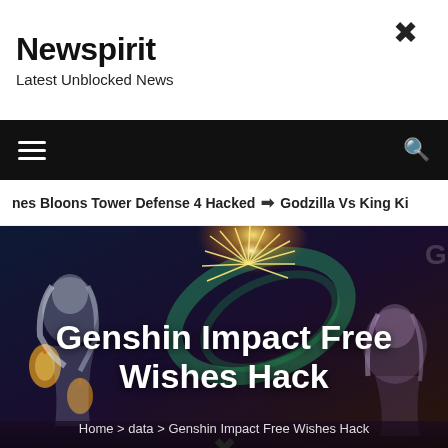Newspirit
Latest Unblocked News
[Figure (screenshot): Navigation bar with hamburger menu icon on left and search icon on right, black background]
nes Bloons Tower Defense 4 Hacked ➔ Godzilla Vs King Ki
[Figure (illustration): Genshin Impact anime-style characters with fireworks background]
Genshin Impact Free Wishes Hack
Home > data > Genshin Impact Free Wishes Hack